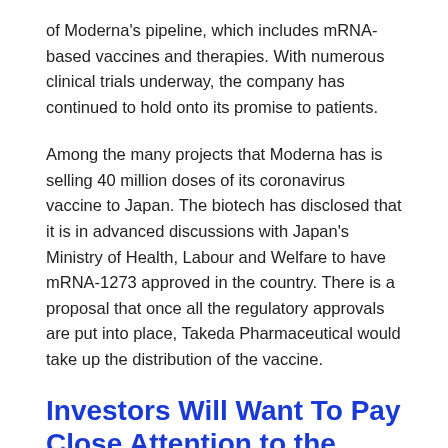of Moderna's pipeline, which includes mRNA-based vaccines and therapies. With numerous clinical trials underway, the company has continued to hold onto its promise to patients.
Among the many projects that Moderna has is selling 40 million doses of its coronavirus vaccine to Japan. The biotech has disclosed that it is in advanced discussions with Japan's Ministry of Health, Labour and Welfare to have mRNA-1273 approved in the country. There is a proposal that once all the regulatory approvals are put into place, Takeda Pharmaceutical would take up the distribution of the vaccine.
Investors Will Want To Pay Close Attention to the Price per Dose
Moderna is not only working with Japan's Ministry of Health,